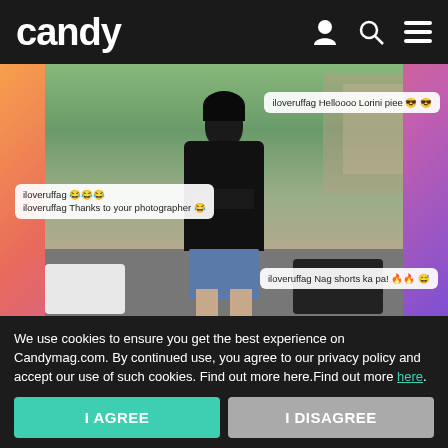candy
[Figure (photo): Screenshot of a social media post showing a young woman in a black crop top, leather jacket, and denim shorts standing on a street with cars in the background. Several comment overlays from user 'iloveruffag' read: 'Helloooo Lorini piee 😎😎', '😂😂😂', 'Thanks to your photographer 😂', 'Nag shorts ka pa! 🔥🔥😅']
Ruffa Gutierrez's Comments on Lorin's IG Prove she's the...
Ruffa Gutierrez has the funniest comments on her daughter Lorin's Instagram page.
We use cookies to ensure you get the best experience on Candymag.com. By continued use, you agree to our privacy policy and accept our use of such cookies. Find out more here.Find out more here.